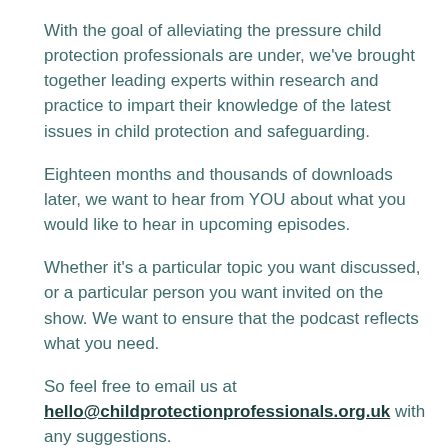With the goal of alleviating the pressure child protection professionals are under, we've brought together leading experts within research and practice to impart their knowledge of the latest issues in child protection and safeguarding.
Eighteen months and thousands of downloads later, we want to hear from YOU about what you would like to hear in upcoming episodes.
Whether it's a particular topic you want discussed, or a particular person you want invited on the show. We want to ensure that the podcast reflects what you need.
So feel free to email us at hello@childprotectionprofessionals.org.uk with any suggestions.